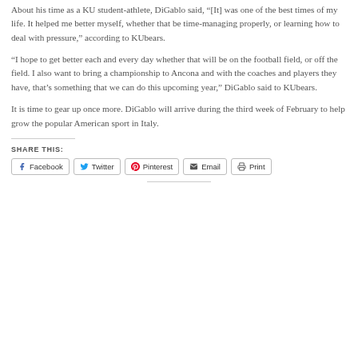About his time as a KU student-athlete, DiGablo said, “[It] was one of the best times of my life. It helped me better myself, whether that be time-managing properly, or learning how to deal with pressure,” according to KUbears.
“I hope to get better each and every day whether that will be on the football field, or off the field. I also want to bring a championship to Ancona and with the coaches and players they have, that’s something that we can do this upcoming year,” DiGablo said to KUbears.
It is time to gear up once more. DiGablo will arrive during the third week of February to help grow the popular American sport in Italy.
SHARE THIS:
Facebook  Twitter  Pinterest  Email  Print